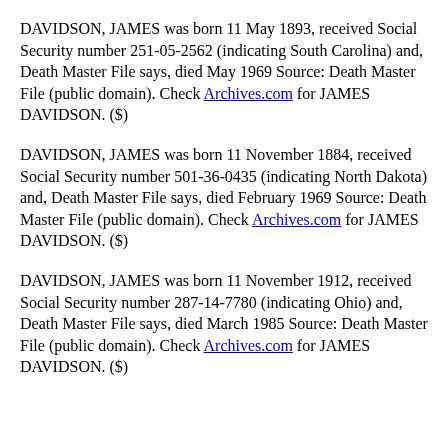DAVIDSON, JAMES was born 11 May 1893, received Social Security number 251-05-2562 (indicating South Carolina) and, Death Master File says, died May 1969 Source: Death Master File (public domain). Check Archives.com for JAMES DAVIDSON. ($)
DAVIDSON, JAMES was born 11 November 1884, received Social Security number 501-36-0435 (indicating North Dakota) and, Death Master File says, died February 1969 Source: Death Master File (public domain). Check Archives.com for JAMES DAVIDSON. ($)
DAVIDSON, JAMES was born 11 November 1912, received Social Security number 287-14-7780 (indicating Ohio) and, Death Master File says, died March 1985 Source: Death Master File (public domain). Check Archives.com for JAMES DAVIDSON. ($)